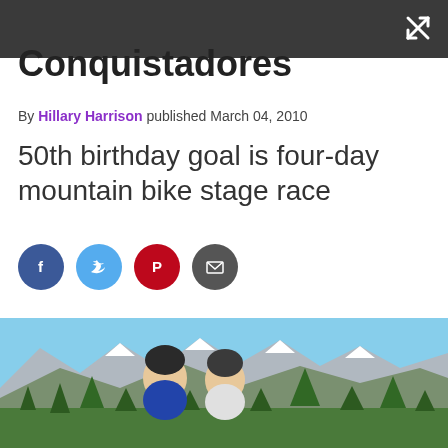Conquistadores
By Hillary Harrison published March 04, 2010
50th birthday goal is four-day mountain bike stage race
[Figure (other): Social sharing buttons: Facebook, Twitter, Pinterest, Email]
[Figure (photo): Two mountain bikers in helmets posing together with Rocky Mountain landscape and pine trees in the background under a blue sky]